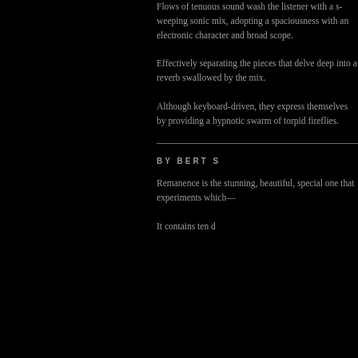Flows of tenuo... listener with a s... mix, adopting a... an electronic ch... scope.
Effectively sepa... that delve deep ... swallowed by th...
Although keybo... they express the... providing a hyp... torpid fireflies.
BY BERT S...
Remanence is th... beautiful, specia... experiments wh...
It contains ten d...